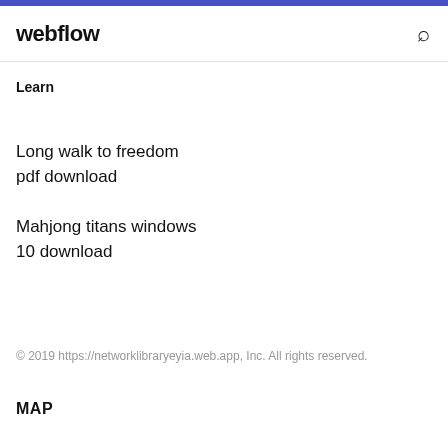webflow
Learn
Long walk to freedom pdf download
Mahjong titans windows 10 download
© 2019 https://networklibraryeyia.web.app, Inc. All rights reserved.
MAP